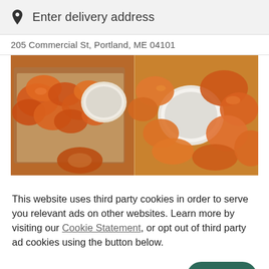Enter delivery address
205 Commercial St, Portland, ME 04101
[Figure (photo): Overhead photo of chicken wings and boneless pieces with dipping sauces (ranch/blue cheese) on metal trays with parchment paper]
This website uses third party cookies in order to serve you relevant ads on other websites. Learn more by visiting our Cookie Statement, or opt out of third party ad cookies using the button below.
OPT OUT
GOT IT